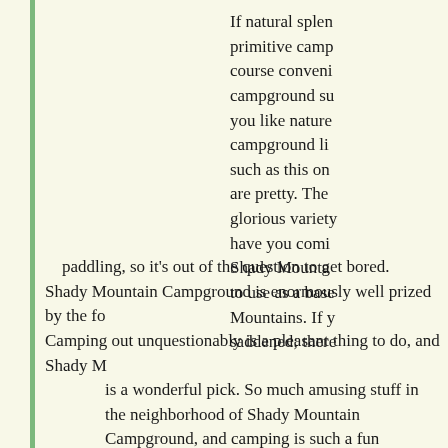If natural splendor and primitive camping are of course convenient, campground such as you like nature campground like such as this one are pretty. The glorious variety have you coming Shady Mountain to use as a base Mountains. If you saddened; there
paddling, so it's out of the question to get bored. Shady Mountain Campground is enormously well prized by the fo Camping out unquestionably is a pleasant thing to do, and Shady M is a wonderful pick. So much amusing stuff in the neighborhood of Shady Mountain Campground, and camping is such a fun activity, and this is a wonderful spot to do that. The grade II-III Below Lynchburg Reservoir to Route 640 sector of Pedlar River is 14 miles long. In case you don't want to risk getting